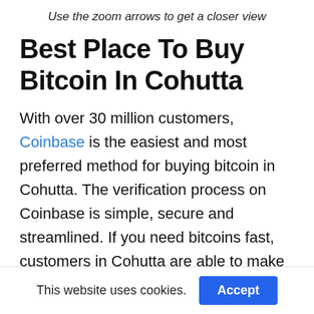Use the zoom arrows to get a closer view
Best Place To Buy Bitcoin In Cohutta
With over 30 million customers, Coinbase is the easiest and most preferred method for buying bitcoin in Cohutta. The verification process on Coinbase is simple, secure and streamlined. If you need bitcoins fast, customers in Cohutta are able to make instant purchases with a debit card or credit card which incur fees of 3.99% or instant
This website uses cookies.  Accept